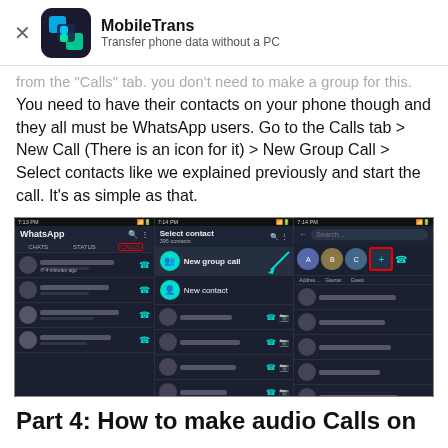MobileTrans — Transfer phone data without a PC
from the 'Calls' tab. You don't need to make a group for this. You need to have their contacts on your phone though and they all must be WhatsApp users. Go to the Calls tab > New Call (There is an icon for it) > New Group Call > Select contacts like we explained previously and start the call. It's as simple as that.
[Figure (screenshot): Three smartphone screenshots showing WhatsApp interface: left shows Calls tab highlighted in red, middle shows Select contact screen with New group call option, right shows selected contacts for group call.]
Part 4: How to make audio Calls on